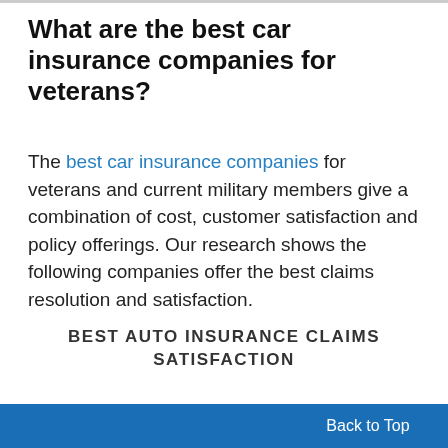What are the best car insurance companies for veterans?
The best car insurance companies for veterans and current military members give a combination of cost, customer satisfaction and policy offerings. Our research shows the following companies offer the best claims resolution and satisfaction.
BEST AUTO INSURANCE CLAIMS SATISFACTION
Back to Top